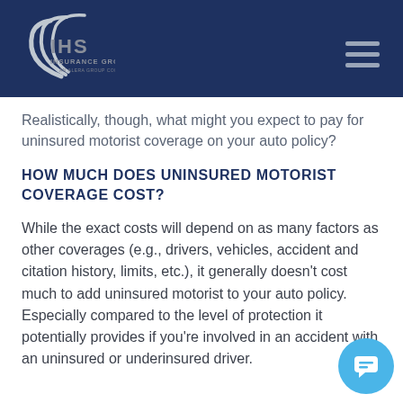[Figure (logo): IHS Insurance Group, LLC — An Alera Group Company logo with swoosh graphic on dark navy header background]
Realistically, though, what might you expect to pay for uninsured motorist coverage on your auto policy?
HOW MUCH DOES UNINSURED MOTORIST COVERAGE COST?
While the exact costs will depend on as many factors as other coverages (e.g., drivers, vehicles, accident and citation history, limits, etc.), it generally doesn't cost much to add uninsured motorist to your auto policy. Especially compared to the level of protection it potentially provides if you're involved in an accident with an uninsured or underinsured driver.